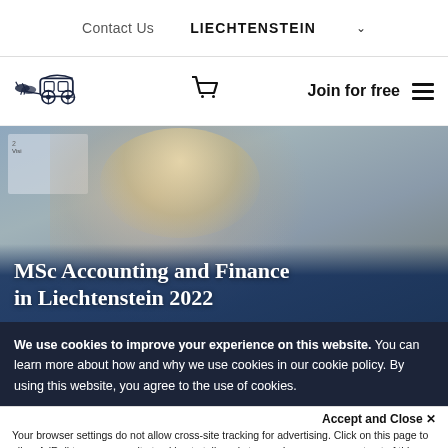Contact Us   LIECHTENSTEIN ∨
[Figure (logo): Carriage and horses logo (dark navy illustration)]
[Figure (illustration): Shopping cart icon]
Join for free
[Figure (photo): Blonde woman looking down, studying, with whiteboard in background]
MSc Accounting and Finance in Liechtenstein 2022
We use cookies to improve your experience on this website. You can learn more about how and why we use cookies in our cookie policy. By using this website, you agree to the use of cookies.
Accept and Close ✕
Your browser settings do not allow cross-site tracking for advertising. Click on this page to allow AdRoll to use cross-site tracking to tailor ads to you. Learn more or opt out of this AdRoll tracking by clicking here. This message only appears once.